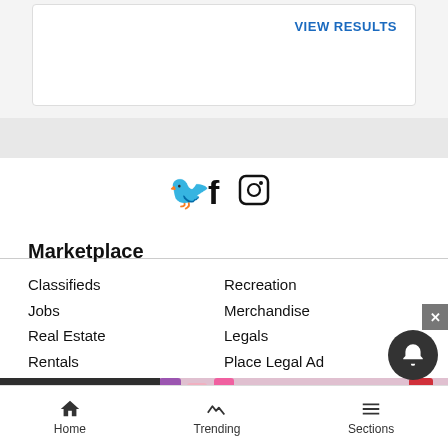VIEW RESULTS
[Figure (other): Social media icons: Twitter bird, Facebook f, Instagram camera]
Marketplace
Classifieds
Jobs
Real Estate
Rentals
Autos
Pets
Recreation
Merchandise
Legals
Place Legal Ad
Search Legal Ads
Reader
Contact
[Figure (photo): MAC Cosmetics advertisement banner with lipsticks and SHOP NOW box]
Home   Trending   Sections